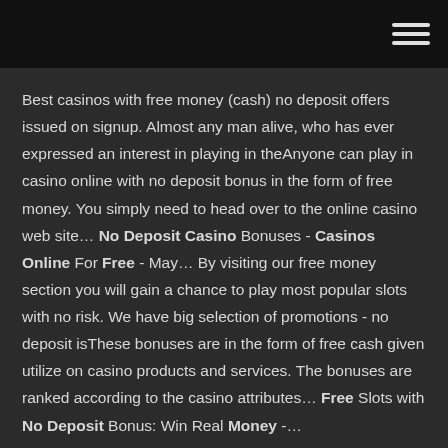Best casinos with free money (cash) no deposit offers issued on signup. Almost any man alive, who has ever expressed an interest in playing in theAnyone can play in casino online with no deposit bonus in the form of free money. You simply need to head over to the online casino web site... No Deposit Casino Bonuses - Casinos Online For Free - May… By visiting our free money section you will gain a chance to play most popular slots with no risk. We have big selection of promotions - no deposit isThese bonuses are in the form of free cash given utilize on casino products and services. The bonuses are ranked according to the casino attributes... Free Slots with No Deposit Bonus: Win Real Money -…